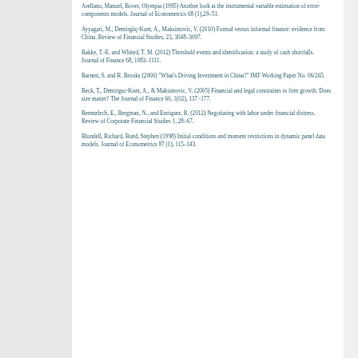Arellano, Manuel, Bover, Olympia (1995) Another look at the instrumental variable estimation of error-components models. Journal of Econometrics 68 (1),29–51.
Ayyagari, M., Demirgüç-Kunt, A., Maksimovic, V. (2010) Formal versus informal finance: evidence from China. Review of Financial Studies, 23, 3048–3097.
Bakke, T.-E. and Whited, T. M. (2012) Threshold events and identification: a study of cash shortfalls. Journal of Finance 68, 1083–1111.
Barnett, S. and R. Brooks (2006) "What's Driving Investment in China?" IMF Working Paper No. 06/265.
Beck, T., Demirguc-Kunt, A., & Maksimovic, V. (2005) Financial and legal constraints to firm growth: Does size matter? The Journal of Finance 60, 1(02), 137−177.
Benmelech, E., Bergman, N., and Enriquez, R. (2012) Negotiating with labor under financial distress. Review of Corporate Financial Studies 1, 28–67.
Blundell, Richard, Bond, Stephen (1998) Initial conditions and moment restrictions in dynamic panel data models. Journal of Econometrics 87 (1), 115–143.